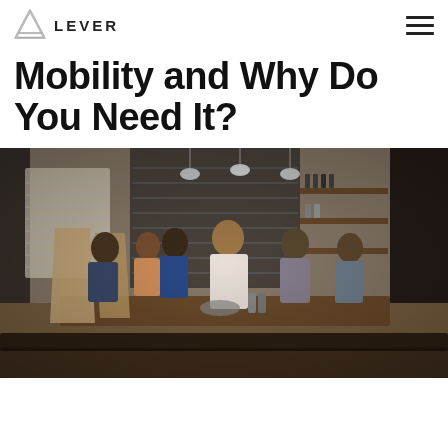LEVER
Mobility and Why Do You Need It?
[Figure (photo): Group of people sitting around a wooden table in a modern industrial-style office or co-working space, having a meeting. Pendant lights hang from ceiling, shelves with bottles and items in background, cardboard divider furniture visible.]